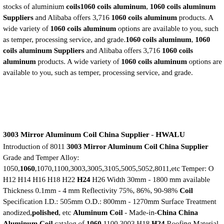stocks of aluminium coils1060 coils aluminum, 1060 coils aluminum Suppliers and Alibaba offers 3,716 1060 coils aluminum products. A wide variety of 1060 coils aluminum options are available to you, such as temper, processing service, and grade.1060 coils aluminum, 1060 coils aluminum Suppliers and Alibaba offers 3,716 1060 coils aluminum products. A wide variety of 1060 coils aluminum options are available to you, such as temper, processing service, and grade.
3003 Mirror Aluminum Coil China Supplier - HWALU
Introduction of 8011 3003 Mirror Aluminum Coil China Supplier Grade and Temper Alloy: 1050,1060,1070,1100,3003,3005,3105,5005,5052,8011,etc Temper: O H12 H14 H16 H18 H22 H24 H26 Width 30mm - 1800 mm available Thickness 0.1mm - 4 mm Reflectivity 75%, 86%, 90-98% Coil Specification I.D.: 505mm O.D.: 800mm - 1270mm Surface Treatment anodized,polished, etc Aluminum Coil - Made-in-China China Aluminum Coil catalog of 1060 1100 3003 H18 H24 Roofing Material Aluminum Alloy Coil,